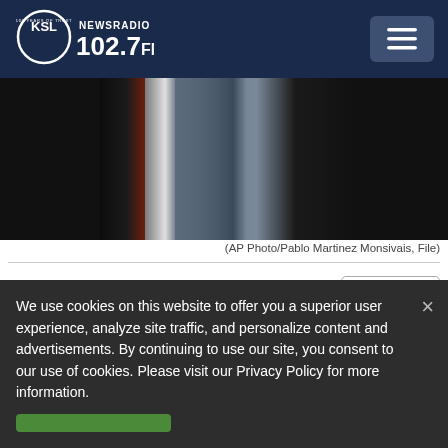KSL NewsRadio 102.7FM
[Figure (photo): Partial view of people in dark business suits, one with a red tie and white shirt visible, photographed from shoulders down]
(AP Photo/Pablo Martinez Monsivais, File)
BY ERIC TUCKER, MARY CLARE JALONICK AND LISA MASCARO ASSOCIATED PRESS
KSL NewsRadio
We use cookies on this website to offer you a superior user experience, analyze site traffic, and personalize content and advertisements. By continuing to use our site, you consent to our use of cookies. Please visit our Privacy Policy for more information.